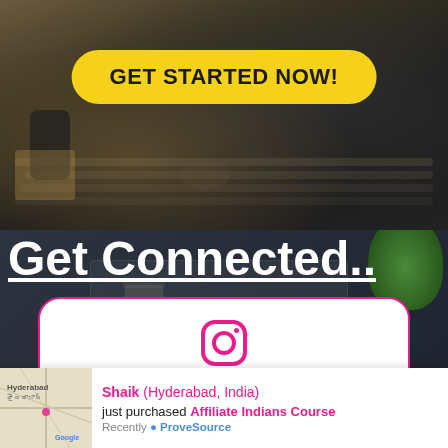[Figure (photo): Dark background photo of person typing on laptop keyboard with phone and notebook on desk]
GET STARTED NOW!
[Figure (photo): Dark background with 'Get Connected..' heading, tea cup, green plant, and a white card popup showing Instagram icon and label]
INSTAGRAM
Shaik (Hyderabad, India) just purchased Affiliate Indians Course Recently ✅ ProveSource